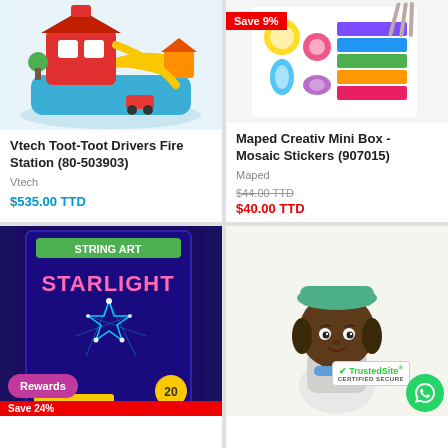[Figure (photo): Vtech Toot-Toot Drivers Fire Station toy product image]
Vtech Toot-Toot Drivers Fire Station (80-503903)
Vtech
$535.00 TTD
[Figure (photo): Maped Creativ Mini Box Mosaic Stickers product image with Save 9% badge]
Maped Creativ Mini Box - Mosaic Stickers (907015)
Maped
$44.00 TTD
$40.00 TTD
[Figure (photo): String Art Starlight kit product box image with Rewards badge and Save 24% badge]
[Figure (photo): Dark-skinned doll with green hat, TrustedSite certified badge and WhatsApp icon]